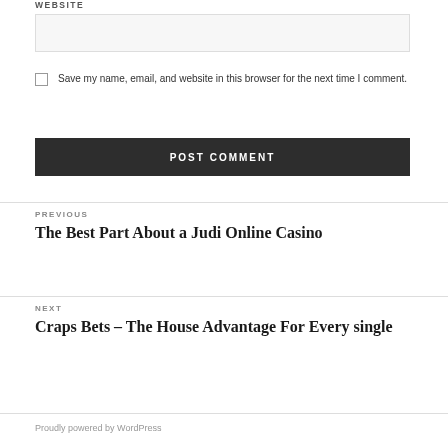WEBSITE
Save my name, email, and website in this browser for the next time I comment.
POST COMMENT
PREVIOUS
The Best Part About a Judi Online Casino
NEXT
Craps Bets – The House Advantage For Every single
Proudly powered by WordPress